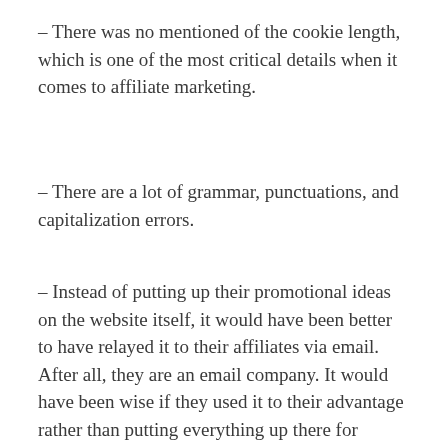– There was no mentioned of the cookie length, which is one of the most critical details when it comes to affiliate marketing.
– There are a lot of grammar, punctuations, and capitalization errors.
– Instead of putting up their promotional ideas on the website itself, it would have been better to have relayed it to their affiliates via email. After all, they are an email company. It would have been wise if they used it to their advantage rather than putting everything up there for